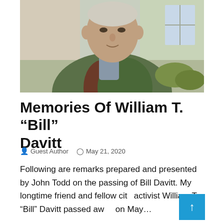[Figure (photo): Outdoor photograph of an elderly man wearing a green quilted jacket with brown suede panel, looking at the camera. Background shows a stone building and greenery.]
Memories Of William T. “Bill” Davitt
Guest Author   May 21, 2020
Following are remarks prepared and presented by John Todd on the passing of Bill Davitt. My longtime friend and fellow cit activist William T. “Bill” Davitt passed aw on May…